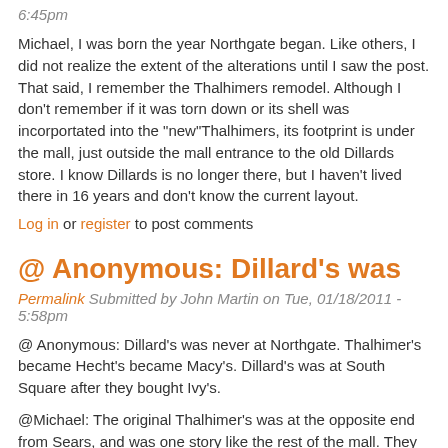6:45pm
Michael, I was born the year Northgate began. Like others, I did not realize the extent of the alterations until I saw the post. That said, I remember the Thalhimers remodel. Although I don't remember if it was torn down or its shell was incorportated into the "new"Thalhimers, its footprint is under the mall, just outside the mall entrance to the old Dillards store. I know Dillards is no longer there, but I haven't lived there in 16 years and don't know the current layout.
Log in or register to post comments
@ Anonymous: Dillard's was
Permalink Submitted by John Martin on Tue, 01/18/2011 - 5:58pm
@ Anonymous: Dillard's was never at Northgate. Thalhimer's became Hecht's became Macy's. Dillard's was at South Square after they bought Ivy's.
@Michael: The original Thalhimer's was at the opposite end from Sears, and was one story like the rest of the mall. They later built a two story store where the theater is now, and the